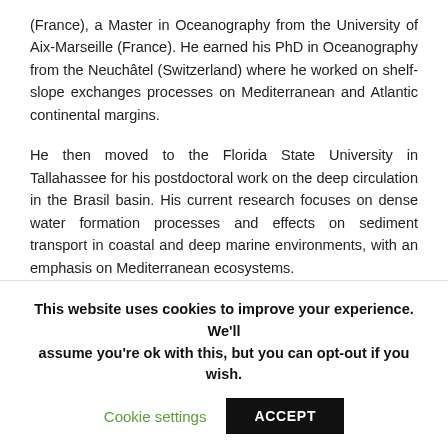(France), a Master in Oceanography from the University of Aix-Marseille (France). He earned his PhD in Oceanography from the Neuchâtel (Switzerland) where he worked on shelf-slope exchanges processes on Mediterranean and Atlantic continental margins.
He then moved to the Florida State University in Tallahassee for his postdoctoral work on the deep circulation in the Brasil basin. His current research focuses on dense water formation processes and effects on sediment transport in coastal and deep marine environments, with an emphasis on Mediterranean ecosystems.
He also works on suspended particles dynamics, especially on the size spectra, aggregation, and settling. He has extensive
This website uses cookies to improve your experience. We'll assume you're ok with this, but you can opt-out if you wish. Cookie settings ACCEPT